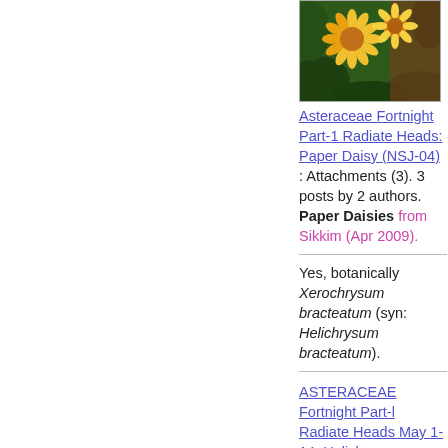[Figure (photo): Photo of yellow and orange Paper Daisy flowers with green foliage background]
Asteraceae Fortnight Part-1 Radiate Heads: Paper Daisy (NSJ-04) : Attachments (3). 3 posts by 2 authors. Paper Daisies from Sikkim (Apr 2009).
Yes, botanically Xerochrysum bracteatum (syn: Helichrysum bracteatum).
ASTERACEAE Fortnight Part-l Radiate Heads May 1-14: Helichrysum